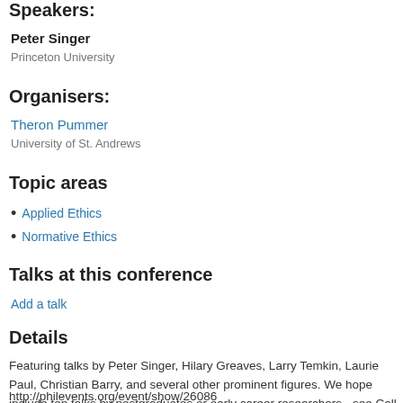Speakers:
Peter Singer
Princeton University
Organisers:
Theron Pummer
University of St. Andrews
Topic areas
Applied Ethics
Normative Ethics
Talks at this conference
Add a talk
Details
Featuring talks by Peter Singer, Hilary Greaves, Larry Temkin, Laurie Paul, Christian Barry, and several other prominent figures. We hope include ten talks by postgraduates or early career researchers - see Call for Abstracts:
http://philevents.org/event/show/26086